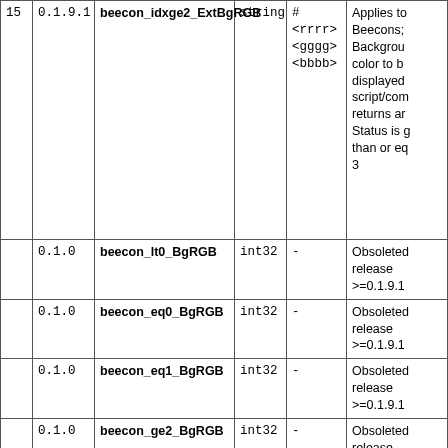| # | Ver | Name | Type | Default | Description |
| --- | --- | --- | --- | --- | --- |
| 15 | 0.1.9.1 | beecon_idxge2_ExtBgRGB | string | #<rrrr>
<gggg>
<bbbb> | Applies to
Beecons;
Background
color to be
displayed
script/com
returns an
Status is g
than or eq
3 |
|  | 0.1.0 | beecon_lt0_BgRGB | int32 | - | Obsoleted
release
>=0.1.9.1 |
|  | 0.1.0 | beecon_eq0_BgRGB | int32 | - | Obsoleted
release
>=0.1.9.1 |
|  | 0.1.0 | beecon_eq1_BgRGB | int32 | - | Obsoleted
release
>=0.1.9.1 |
|  | 0.1.0 | beecon_ge2_BgRGB | int32 | - | Obsoleted
release
>=0.1.9.1 |
|  | 0.1.0 | beecon_idxge2_BgRGB | int32 | - | Obsoleted
release
>=0.1.0 |